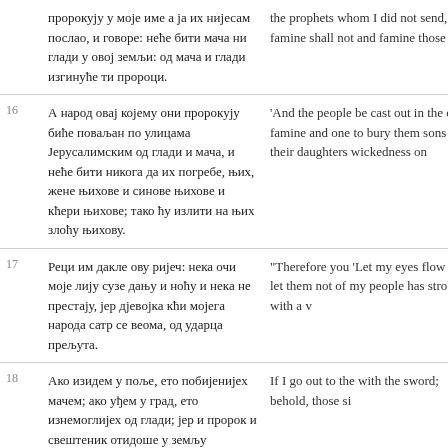пророкују у моје име а ја их нијесам послао, и говоре: неће бити мача ни глади у овој земљи: од мача и глади изгинуће ти пророци.
the prophets whom I did not send, and famine shall not be and famine those
16 А народ овај којему они пророкују биће поваљан по улицама Јерусалимским од глади и мача, и неће бити никога да их погребе, њих, жене њихове и синове њихове и кћери њихове; тако ћу излити на њих злоћу њихову.
'And the people to be cast out in the of the famine and one to bury them sons nor their daughters wickedness on
17 Реци им дакле ову ријеч: нека очи моје лију сузе дању и ноћу и нека не престају, јер дјевојка кћи мојега народа сатр се веома, од ударца прељута.
"Therefore you 'Let my eyes flow and let them not of my people has stroke, with a v
18 Ако изидем у поље, ето побијенијех мачем; ако уђем у град, ето изнемоглијех од глади; јер и пророк и свештеник отидоше у земљу
If I go out to the with the sword; behold, those si